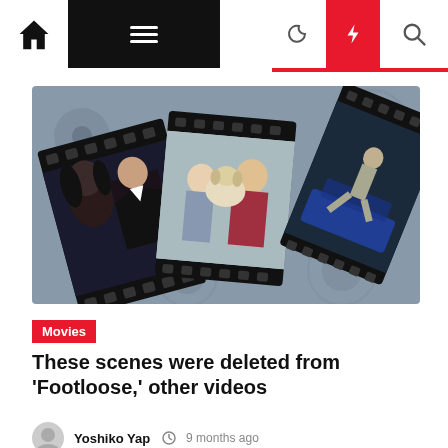Navigation bar with home, menu, moon, bolt, and search icons
[Figure (photo): Film strip collage showing movie stills: Cher and Nicolas Cage in formal wear, a couple with a fluffy dog, and a man jumping near a car, all on a film reel background]
Movies
These scenes were deleted from 'Footloose,' other videos
Yoshiko Yap  9 months ago